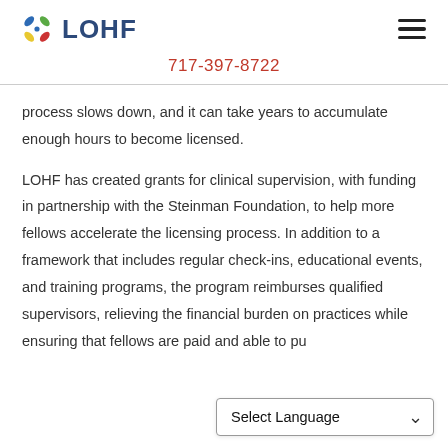LOHF | 717-397-8722
process slows down, and it can take years to accumulate enough hours to become licensed.
LOHF has created grants for clinical supervision, with funding in partnership with the Steinman Foundation, to help more fellows accelerate the licensing process. In addition to a framework that includes regular check-ins, educational events, and training programs, the program reimburses qualified supervisors, relieving the financial burden on practices while ensuring that fellows are paid and able to pu